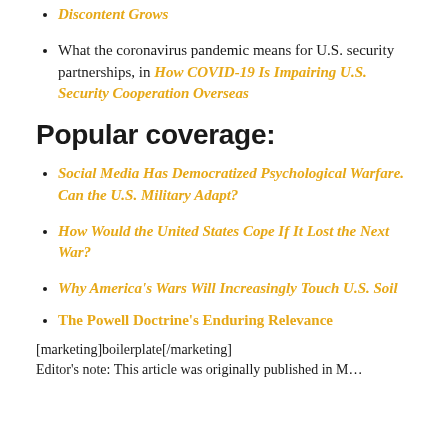Discontent Grows
What the coronavirus pandemic means for U.S. security partnerships, in How COVID-19 Is Impairing U.S. Security Cooperation Overseas
Popular coverage:
Social Media Has Democratized Psychological Warfare. Can the U.S. Military Adapt?
How Would the United States Cope If It Lost the Next War?
Why America's Wars Will Increasingly Touch U.S. Soil
The Powell Doctrine's Enduring Relevance
[marketing]boilerplate[/marketing]
Editor's note: This article was originally published in M...